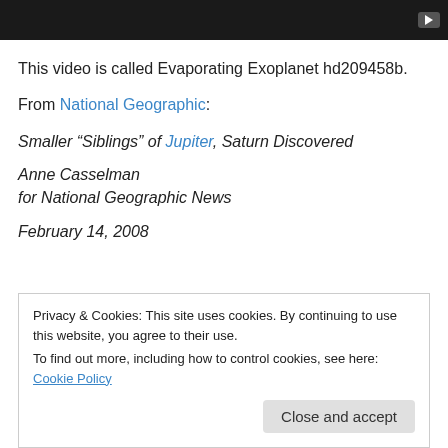[Figure (screenshot): Black video player bar with a play button icon in the top-right corner]
This video is called Evaporating Exoplanet hd209458b.
From National Geographic:
Smaller “Siblings” of Jupiter, Saturn Discovered
Anne Casselman
for National Geographic News
February 14, 2008
Privacy & Cookies: This site uses cookies. By continuing to use this website, you agree to their use.
To find out more, including how to control cookies, see here: Cookie Policy
Close and accept